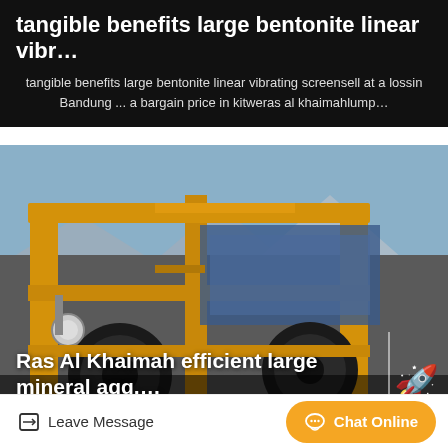tangible benefits large bentonite linear vibr…
tangible benefits large bentonite linear vibrating screensell at a lossin Bandung ... a bargain price in kitweras al khaimahlump…
[Figure (photo): Yellow industrial mineral aggregate screening/processing machinery at an outdoor mining site with mountains in background]
Ras Al Khaimah efficient large mineral agg,…
Ras Al Khaimah efficientlarge …
Leave Message
Chat Online